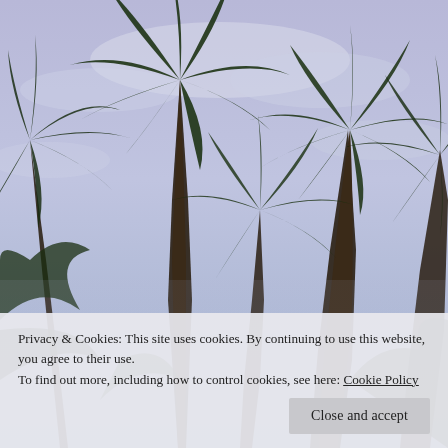[Figure (photo): Upward-looking photograph of tall palm trees against a partly cloudy blue-purple sky. Multiple palm trunks rise from the bottom toward the top of the frame with fronds spreading out against the sky.]
Privacy & Cookies: This site uses cookies. By continuing to use this website, you agree to their use.
To find out more, including how to control cookies, see here: Cookie Policy
Close and accept